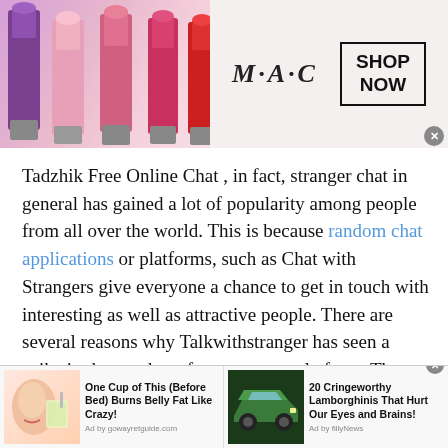[Figure (photo): MAC Cosmetics advertisement banner showing lipsticks on the left and MAC logo with SHOP NOW button on the right]
Tadzhik Free Online Chat , in fact, stranger chat in general has gained a lot of popularity among people from all over the world. This is because random chat applications or platforms, such as Chat with Strangers give everyone a chance to get in touch with interesting as well as attractive people. There are several reasons why Talkwithstranger has seen a spike in the number of users on our platform. The developers of this platform aim to:
Enable People to Make New Connections
[Figure (photo): Bottom ad bar with two advertisement units: one for belly fat tip and one for Lamborghini article]